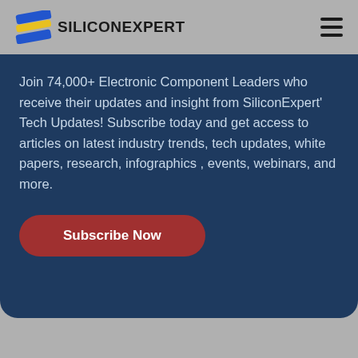SiliconExpert
Join 74,000+ Electronic Component Leaders who receive their updates and insight from SiliconExpert' Tech Updates! Subscribe today and get access to articles on latest industry trends, tech updates, white papers, research, infographics , events, webinars, and more.
Subscribe Now